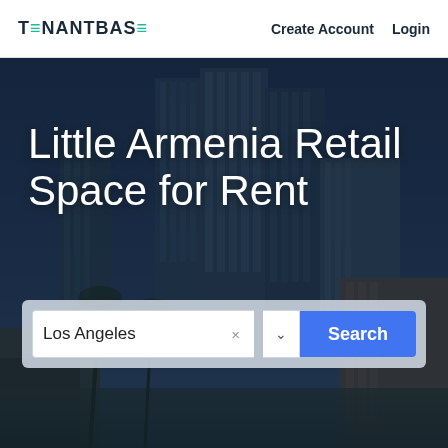TENANTBASE  Create Account  Login
[Figure (photo): City skyline at dusk with tall modern glass skyscrapers and a dark overlay, Los Angeles downtown]
Little Armenia Retail Space for Rent
Los Angeles  ×  ˅  Search